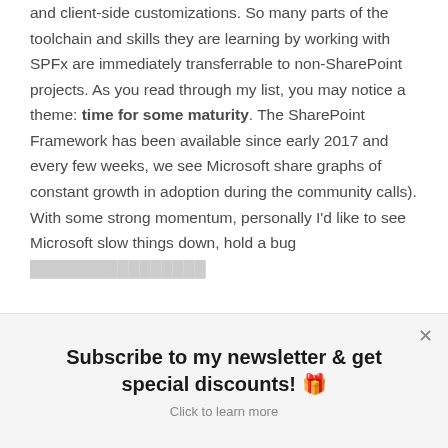and client-side customizations. So many parts of the toolchain and skills they are learning by working with SPFx are immediately transferrable to non-SharePoint projects. As you read through my list, you may notice a theme: time for some maturity. The SharePoint Framework has been available since early 2017 and every few weeks, we see Microsoft share graphs of constant growth in adoption during the community calls). With some strong momentum, personally I'd like to see Microsoft slow things down, hold a bug [...]
Subscribe to my newsletter & get special discounts! 🎁
Click to learn more